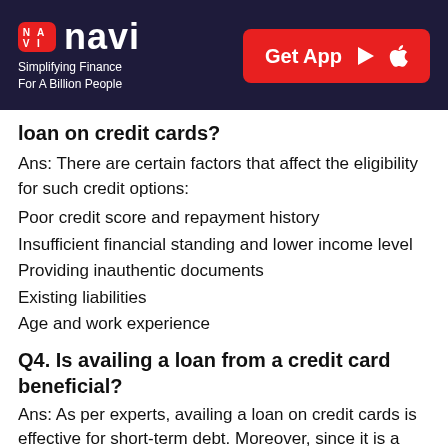navi — Simplifying Finance For A Billion People | Get App
loan on credit cards?
Ans: There are certain factors that affect the eligibility for such credit options:
Poor credit score and repayment history
Insufficient financial standing and lower income level
Providing inauthentic documents
Existing liabilities
Age and work experience
Q4. Is availing a loan from a credit card beneficial?
Ans: As per experts, availing a loan on credit cards is effective for short-term debt. Moreover, since it is a kind of pre-approved loan extended based on credit card usage, credit score and history, it is a prompt and convenient borrowing method. Moreover, it can be